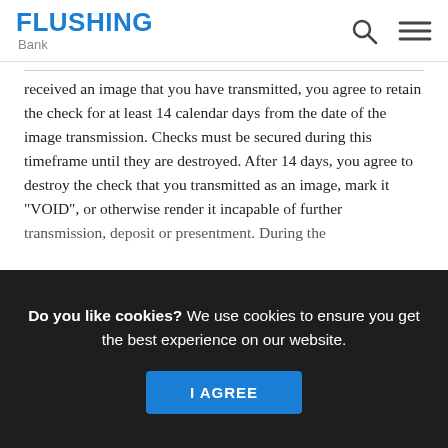[Figure (logo): Flushing Bank logo with search and menu icons in header]
received an image that you have transmitted, you agree to retain the check for at least 14 calendar days from the date of the image transmission. Checks must be secured during this timeframe until they are destroyed. After 14 days, you agree to destroy the check that you transmitted as an image, mark it "VOID", or otherwise render it incapable of further transmission, deposit or presentment. During the
Do you like cookies? We use cookies to ensure you get the best experience on our website.